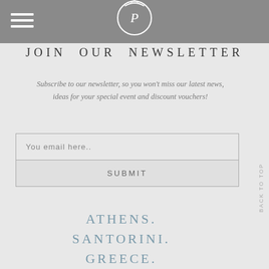JOIN OUR NEWSLETTER
Subscribe to our newsletter, so you won't miss our latest news, ideas for your special event and discount vouchers!
You email here..
SUBMIT
BACK TO TOP
ATHENS.
SANTORINI.
GREECE.